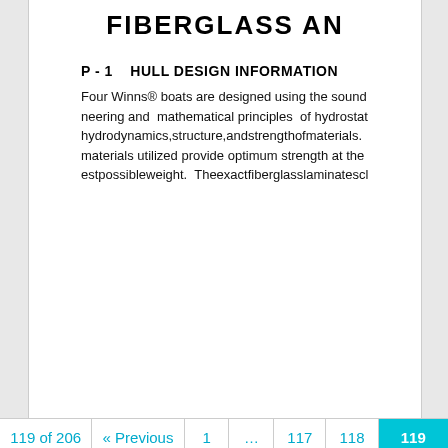FIBERGLASS AN
P - 1    HULL DESIGN INFORMATION
Four Winns® boats are designed using the sound neering and  mathematical principles  of hydrostat hydrodynamics,structure,andstrengthofmaterials. materials utilized provide optimum strength at the estpossibleweight.  Theexactfiberglasslaminatescl
119 of 206  « Previous  1  ...  117  118  119  120  121  ...  206  Next »